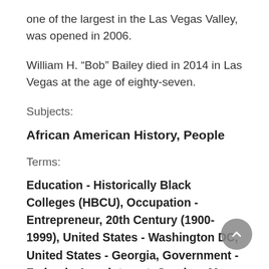one of the largest in the Las Vegas Valley, was opened in 2006.
William H. “Bob” Bailey died in 2014 in Las Vegas at the age of eighty-seven.
Subjects:
African American History, People
Terms:
Education - Historically Black Colleges (HBCU), Occupation - Entrepreneur, 20th Century (1900-1999), United States - Washington DC, United States - Georgia, Government - Federal - Appointment, Gender - Men, United States - California, Civil Rights - NAACP, United States -